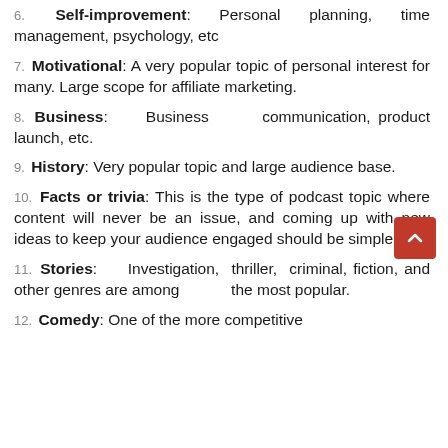6. Self-improvement: Personal planning, time management, psychology, etc
7. Motivational: A very popular topic of personal interest for many. Large scope for affiliate marketing.
8. Business: Business communication, product launch, etc.
9. History: Very popular topic and large audience base.
10. Facts or trivia: This is the type of podcast topic where content will never be an issue, and coming up with new ideas to keep your audience engaged should be simple.
11. Stories: Investigation, thriller, criminal, fiction, and other genres are among the most popular.
12. Comedy: One of the more competitive